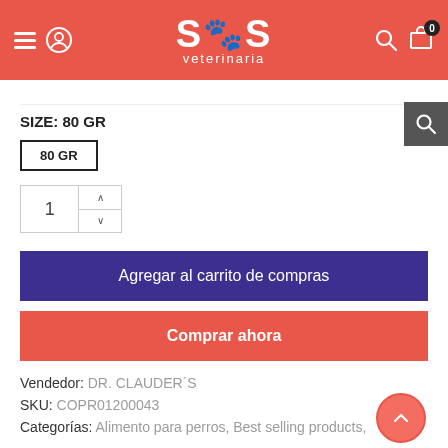[Figure (screenshot): SOS Veterinaria website header with logo, hamburger menu, user icon, search icon, and cart icon with badge showing 0]
SIZE: 80 GR
80 GR
1
Agregar al carrito de compras
Comprar ahora
Vendedor: DR. CLAUDER´S
SKU: COPR01200043
Categorías: Alimento para perros, Best selling products,